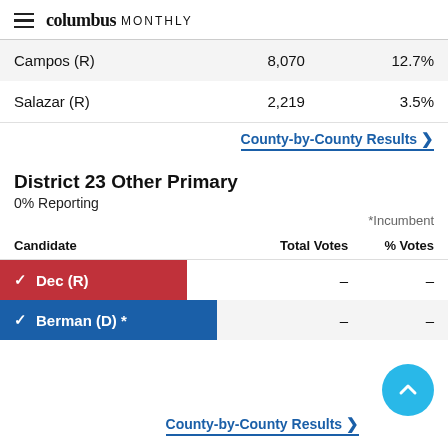columbus MONTHLY
| Candidate | Total Votes | % Votes |
| --- | --- | --- |
| Campos (R) | 8,070 | 12.7% |
| Salazar (R) | 2,219 | 3.5% |
County-by-County Results ❯
District 23 Other Primary
0% Reporting
*Incumbent
| Candidate | Total Votes | % Votes |
| --- | --- | --- |
| ✓ Dec (R) | - | - |
| ✓ Berman (D) * | - | - |
County-by-County Results ❯